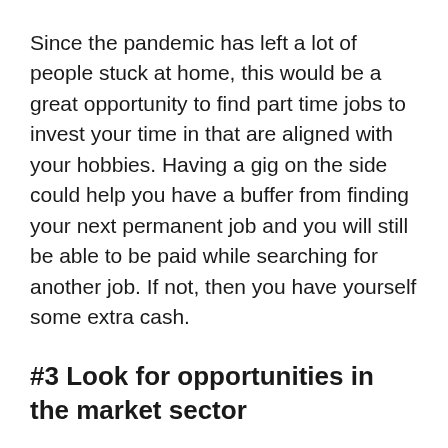Since the pandemic has left a lot of people stuck at home, this would be a great opportunity to find part time jobs to invest your time in that are aligned with your hobbies. Having a gig on the side could help you have a buffer from finding your next permanent job and you will still be able to be paid while searching for another job. If not, then you have yourself some extra cash.
#3 Look for opportunities in the market sector
There are a lot of rising businesses which expand their target market in the online aspect and there are a lot of starting businesses and other companies pay a little cash or give away gift certificates for people to